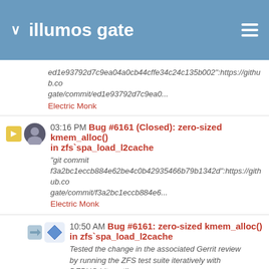illumos gate
ed1e93792d7c9ea04a0cb44cffe34c24c135b002":https://github.com/illumos/illumos-gate/commit/ed1e93792d7c9ea0...
Electric Monk
03:16 PM Bug #6161 (Closed): zero-sized kmem_alloc() in zfs`spa_load_l2cache
"git commit f3a2bc1eccb884e62be4c0b42935466b79b1342d":https://github.com/illumos/illumos-gate/commit/f3a2bc1eccb884e6...
Electric Monk
10:50 AM Bug #6161: zero-sized kmem_alloc() in zfs`spa_load_l2cache
Tested the change in the associated Gerrit review by running the ZFS test suite iteratively with DEBUG bits until no ...
Andy Fiddaman
01:36 AM Feature #13973 (New): Add support for TPM2.0